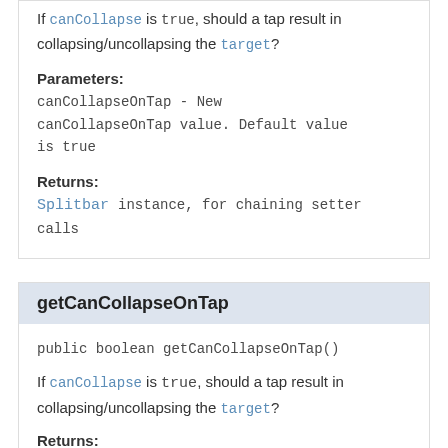If canCollapse is true, should a tap result in collapsing/uncollapsing the target?
Parameters:
canCollapseOnTap - New canCollapseOnTap value. Default value is true
Returns:
Splitbar instance, for chaining setter calls
getCanCollapseOnTap
public boolean getCanCollapseOnTap()
If canCollapse is true, should a tap result in collapsing/uncollapsing the target?
Returns:
Current canCollapseOnTap value